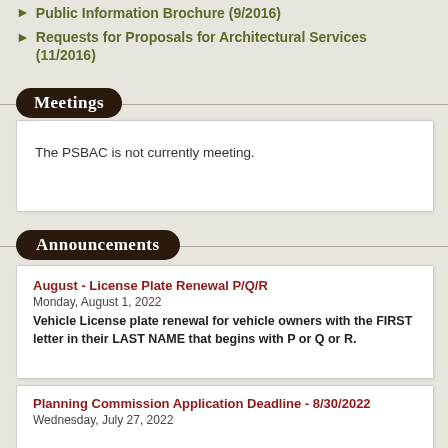Public Information Brochure (9/2016)
Requests for Proposals for Architectural Services (11/2016)
Meetings
The PSBAC is not currently meeting.
Announcements
August - License Plate Renewal P/Q/R
Monday, August 1, 2022
Vehicle License plate renewal for vehicle owners with the FIRST letter in their LAST NAME that begins with P or Q or R.
Planning Commission Application Deadline - 8/30/2022
Wednesday, July 27, 2022